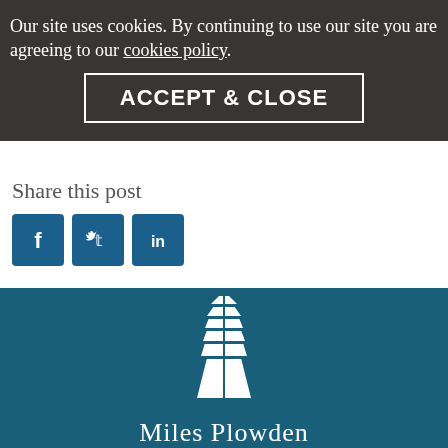Our site uses cookies. By continuing to use our site you are agreeing to our cookies policy.
ACCEPT & CLOSE
Share this post
[Figure (logo): Social media sharing icons: Facebook, Twitter, LinkedIn]
[Figure (logo): White sailing ship / building logo icon on dark teal background, likely Miles Plowden or similar firm]
Miles Plowden